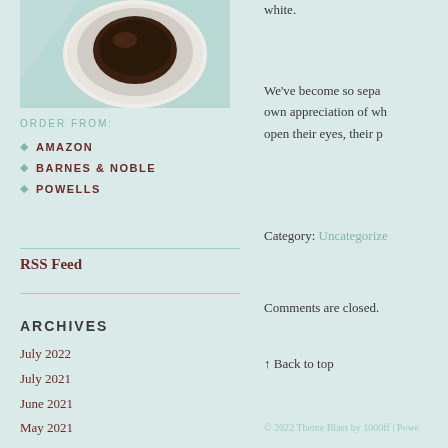[Figure (photo): Photo of a bowl with dark contents (likely food/coffee), viewed from above, on a light teal background]
white.
We've become so sepa own appreciation of wh open their eyes, their p
ORDER FROM:
AMAZON
BARNES & NOBLE
POWELLS
RSS Feed
Category: Uncategorize
Comments are closed.
ARCHIVES
July 2022
July 2021
June 2021
May 2021
August 2020
April 2020
March 2020
April 2019
↑ Back to top
© 2022 Theme Blass by 1000ff | Powe